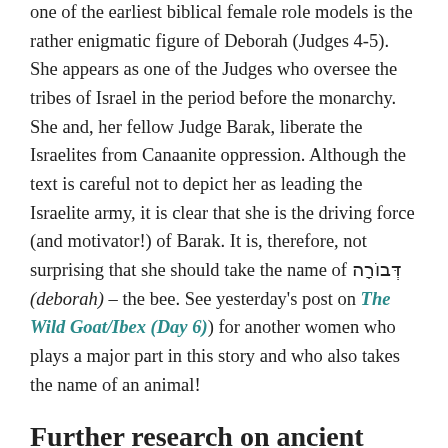one of the earliest biblical female role models is the rather enigmatic figure of Deborah (Judges 4-5). She appears as one of the Judges who oversee the tribes of Israel in the period before the monarchy. She and, her fellow Judge Barak, liberate the Israelites from Canaanite oppression. Although the text is careful not to depict her as leading the Israelite army, it is clear that she is the driving force (and motivator!) of Barak. It is, therefore, not surprising that she should take the name of דְּבוֹרָה (deborah) – the bee. See yesterday's post on The Wild Goat/Ibex (Day 6) for another women who plays a major part in this story and who also takes the name of an animal!
Further research on ancient apiary
For those interested in bee keeping in ancient Egypt